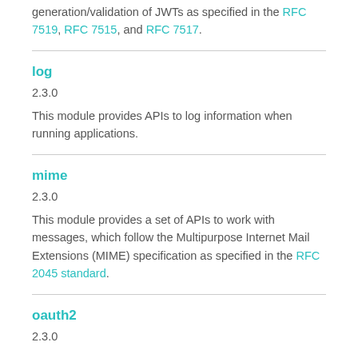generation/validation of JWTs as specified in the RFC 7519, RFC 7515, and RFC 7517.
log
2.3.0
This module provides APIs to log information when running applications.
mime
2.3.0
This module provides a set of APIs to work with messages, which follow the Multipurpose Internet Mail Extensions (MIME) specification as specified in the RFC 2045 standard.
oauth2
2.3.0